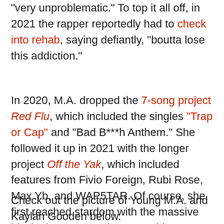“very unproblematic.” To top it all off, in 2021 the rapper reportedly had to check into rehab, saying defiantly, “boutta lose this addiction.”
In 2020, M.A. dropped the 7-song project Red Flu, which included the singles “Trap or Cap” and “Bad B***h Anthem.” She followed it up in 2021 with the longer project Off the Yak, which included features from Fivio Foreign, Rubi Rose, Max Yb, and WAP5TAR. Of course, she first reached stardom with the massive hit single “Ooouuu” in 2016. This year she’s released two singles, including “Aye Day Pay Day.”
Check out the picture of Young M.A. and Kaylah Gooden below.